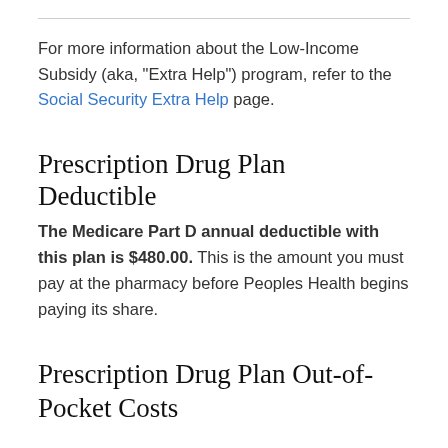For more information about the Low-Income Subsidy (aka, "Extra Help") program, refer to the Social Security Extra Help page.
Prescription Drug Plan Deductible
The Medicare Part D annual deductible with this plan is $480.00. This is the amount you must pay at the pharmacy before Peoples Health begins paying its share.
Prescription Drug Plan Out-of-Pocket Costs